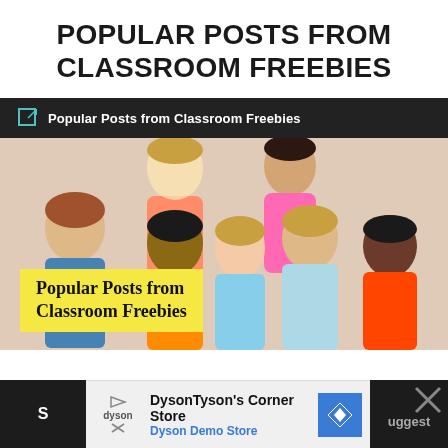POPULAR POSTS FROM CLASSROOM FREEBIES
[Figure (screenshot): Screenshot of a webpage showing a dark navigation bar with 'Popular Posts from Classroom Freebies' link, below which is a photo of a group of six children (elementary school age, diverse group) smiling, with a yellow banner overlay reading 'Popular Posts from Classroom Freebies' in bold handwritten style font.]
[Figure (infographic): Advertisement strip at the bottom: dark grey area on the left, center shows Dyson logo with play and X icons, text 'DysonTyson's Corner Store' and 'Dyson Demo Store' in blue, a blue diamond navigation icon on the right, and dark grey area on the far right with an X close icon and partial text.]